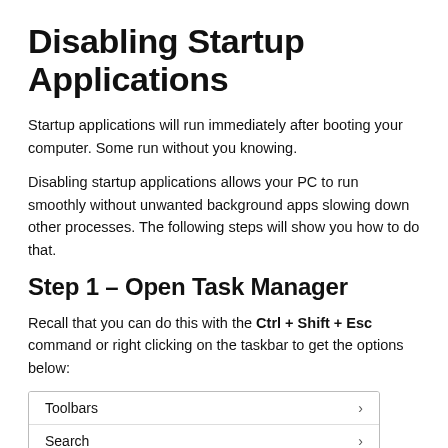Disabling Startup Applications
Startup applications will run immediately after booting your computer. Some run without you knowing.
Disabling startup applications allows your PC to run smoothly without unwanted background apps slowing down other processes. The following steps will show you how to do that.
Step 1 – Open Task Manager
Recall that you can do this with the Ctrl + Shift + Esc command or right clicking on the taskbar to get the options below:
[Figure (screenshot): A Windows taskbar right-click context menu showing two visible items: 'Toolbars' with a chevron arrow, and 'Search' with a chevron arrow, separated by a horizontal line.]